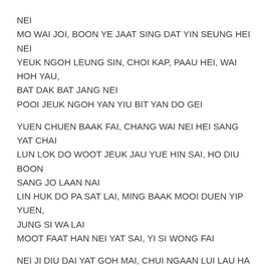NEI
MO WAI JOI, BOON YE JAAT SING DAT YIN SEUNG HEI NEI
YEUK NGOH LEUNG SIN, CHOI KAP, PAAU HEI, WAI HOH YAU,
BAT DAK BAT JANG NEI
POOI JEUK NGOH YAN YIU BIT YAN DO GEI
YUEN CHUEN BAAK FAI, CHANG WAI NEI HEI SANG YAT CHAI
LUN LOK DO WOOT JEUK JAU YUE HIN SAI, HO DIU BOON SANG JO LAAN NAI
LIN HUK DO PA SAT LAI, MING BAAK MOOI DUEN YIP YUEN, JUNG SI WA LAI
MOOT FAAT HAN NEI YAT SAI, YI SI WONG FAI
NEI JI DIU DAI YAT GOH MAI, CHUI NGAAN LUI LAU HA YAT DIM DIM DIK ON WAI
NGOH JAM MOH JI CHAANG DO DAI
BAT SIK YAT CHAI, MO HAU FOOI WAAK SI JAP MAI